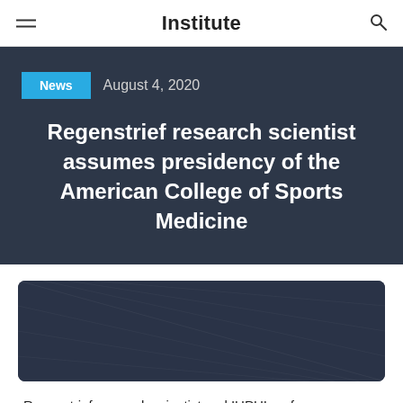Institute
News  August 4, 2020
Regenstrief research scientist assumes presidency of the American College of Sports Medicine
[Figure (photo): Dark rectangular image placeholder with subtle diagonal pattern, likely a photo related to the article]
Regenstrief research scientist and IUPUI professor